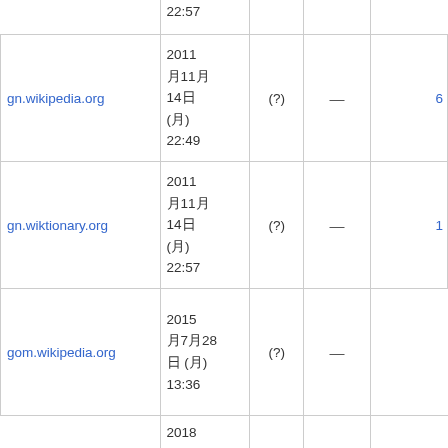|  | Date |  | — |  |
| --- | --- | --- | --- | --- |
|  | 22:57 |  |  |  |
| gn.wikipedia.org | 2011 月11月 14日 (月) 22:49 | (?) | — | 6 |
| gn.wiktionary.org | 2011 月11月 14日 (月) 22:57 | (?) | — | 1 |
| gom.wikipedia.org | 2015 月7月28 日 (月) 13:36 | (?) | — |  |
|  | 2018 月4月19... |  |  |  |